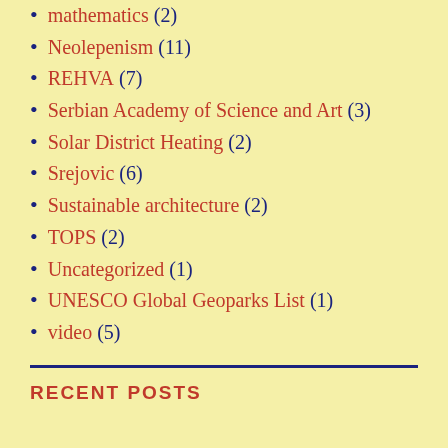mathematics (2)
Neolepenism (11)
REHVA (7)
Serbian Academy of Science and Art (3)
Solar District Heating (2)
Srejovic (6)
Sustainable architecture (2)
TOPS (2)
Uncategorized (1)
UNESCO Global Geoparks List (1)
video (5)
RECENT POSTS